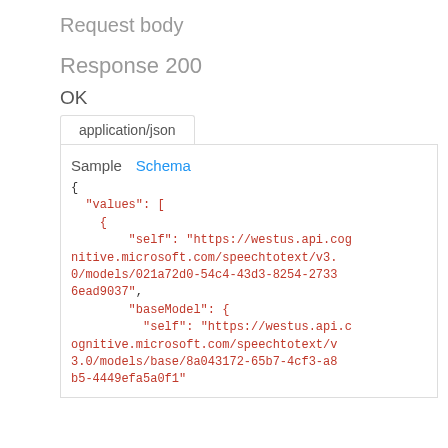Request body
Response 200
OK
application/json
Sample   Schema
{
  "values": [
    {
        "self": "https://westus.api.cognitive.microsoft.com/speechtotext/v3.0/models/021a72d0-54c4-43d3-8254-27336ead9037",
        "baseModel": {
          "self": "https://westus.api.c
ognitive.microsoft.com/speechtotext/v
3.0/models/base/8a043172-65b7-4cf3-a8
b5-4449efa5a0f1"